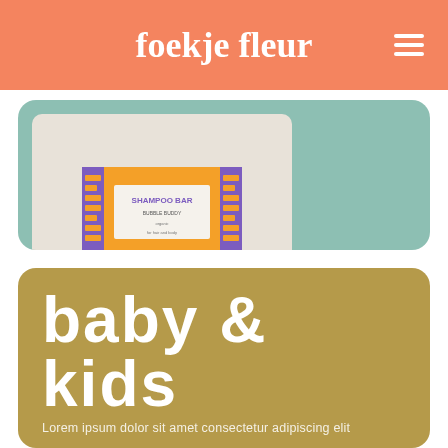foekje fleur
[Figure (photo): Product photo of Bubble Buddy organic shampoo bar in orange and purple packaging on a light grey background]
Bubble Buddy organic shampoo bar
€6,90
baby & kids